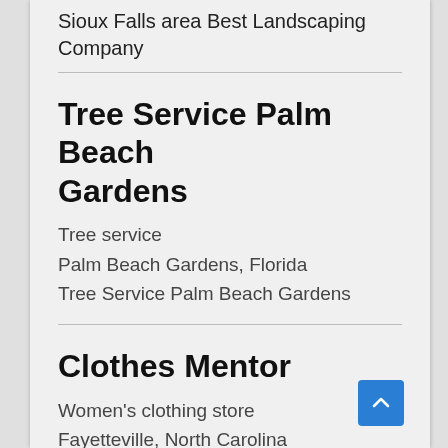Sioux Falls area Best Landscaping Company
Tree Service Palm Beach Gardens
Tree service
Palm Beach Gardens, Florida
Tree Service Palm Beach Gardens
Clothes Mentor
Women's clothing store
Fayetteville, North Carolina
Women's Retail Resale for Brand Name Clothes, Shoes, Accessories, and Designer